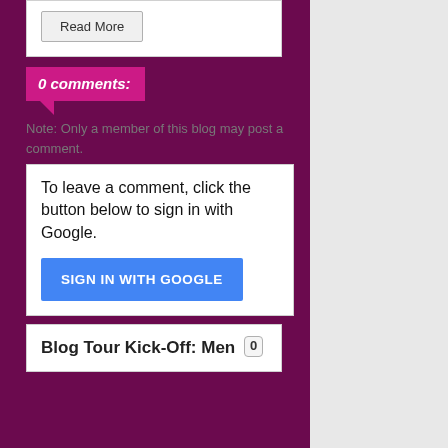Read More
0 comments:
Note: Only a member of this blog may post a comment.
To leave a comment, click the button below to sign in with Google.
SIGN IN WITH GOOGLE
Blog Tour Kick-Off: Men 0